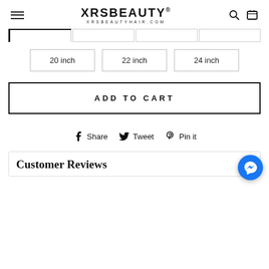XRSBEAUTY® XRSBEAUTYHAIR.COM
[Figure (screenshot): Size selector tabs (4 tabs, first one active/selected with thick border on left and top)]
[Figure (screenshot): Size selection buttons: 20 inch, 22 inch, 24 inch]
[Figure (screenshot): ADD TO CART button with border]
[Figure (screenshot): Social share buttons: Share (Facebook), Tweet (Twitter), Pin it (Pinterest)]
[Figure (screenshot): Messenger chat bubble button (blue circle with lightning bolt icon)]
Customer Reviews